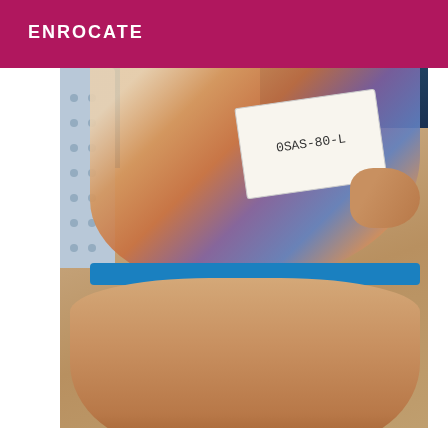ENROCATE
[Figure (photo): A person sitting on a bed wearing a floral dress and blue underwear, holding a handwritten card/note with text '0SAS-80-L' (partially visible number)]